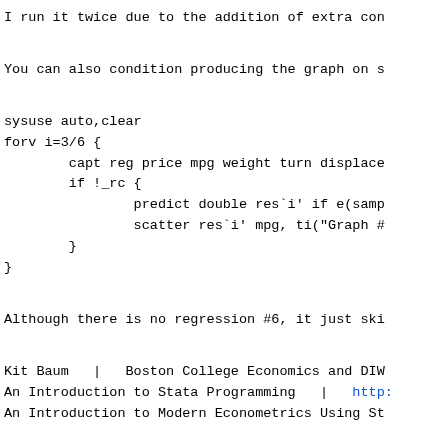I run it twice due to the addition of extra con
You can also condition producing the graph on s
sysuse auto,clear
forv i=3/6 {
        capt reg price mpg weight turn displace
        if !_rc {
                predict double res`i' if e(samp
                scatter res`i' mpg, ti("Graph #
        }
}
Although there is no regression #6, it just ski
Kit Baum   |   Boston College Economics and DIW
An Introduction to Stata Programming   |   http:
An Introduction to Modern Econometrics Using St
*
*   For searches and help try:
*   http://www.stata.com/help.cgi?search